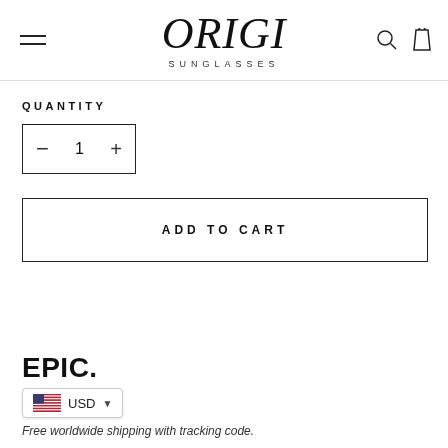ORIGI SUNGLASSES
QUANTITY
- 1 +
ADD TO CART
EPIC.
USD
Free worldwide shipping with tracking code.